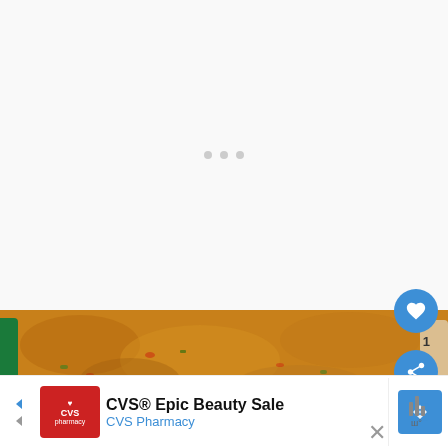[Figure (screenshot): Loading screen with three small grey dots centered on a light grey background, indicating content is loading]
[Figure (screenshot): Blue circular heart/favorite button with white heart icon, positioned upper right]
[Figure (screenshot): Number '1' count badge below heart button]
[Figure (screenshot): Blue circular share button with share icon below count badge]
[Figure (photo): Partial food photo showing a baked casserole dish with golden-brown cheesy topping, green vegetables and red peppers visible]
[Figure (screenshot): Advertisement bar at bottom: CVS Pharmacy logo on left, 'CVS® Epic Beauty Sale' title text, 'CVS Pharmacy' subtitle in blue, blue diamond navigation arrow icon, X close button, and weather/temperature icon on far right]